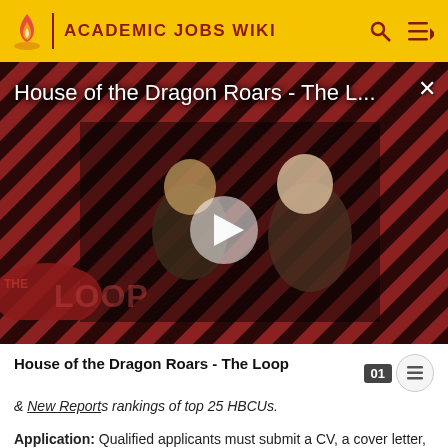ACADEMIC JOBS WIKI
[Figure (screenshot): Video thumbnail showing House of the Dragon Roars - The Loop with two characters and a play button, on a red diagonal-striped background with The Loop branding]
House of the Dragon Roars - The Loop
& New Report s rankings of top 25 HBCUs.
Application: Qualified applicants must submit a CV, a cover letter, a one-page teaching philosophy, official